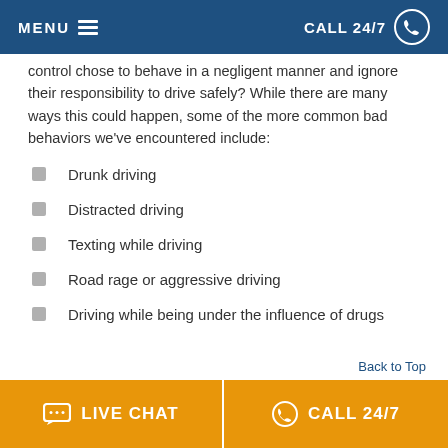MENU   CALL 24/7
control chose to behave in a negligent manner and ignore their responsibility to drive safely? While there are many ways this could happen, some of the more common bad behaviors we've encountered include:
Drunk driving
Distracted driving
Texting while driving
Road rage or aggressive driving
Driving while being under the influence of drugs
LIVE CHAT   CALL 24/7